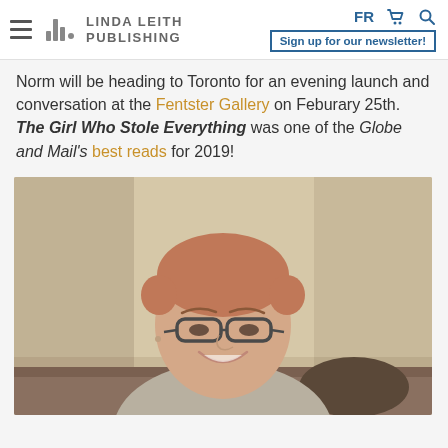Linda Leith Publishing — FR [cart] [search] | Sign up for our newsletter!
Norm will be heading to Toronto for an evening launch and conversation at the Fentster Gallery on Feburary 25th. The Girl Who Stole Everything was one of the Globe and Mail's best reads for 2019!
[Figure (photo): Portrait photo of a woman with short reddish hair, wearing glasses and a grey/white knit sweater, smiling, seated indoors with a neutral background.]